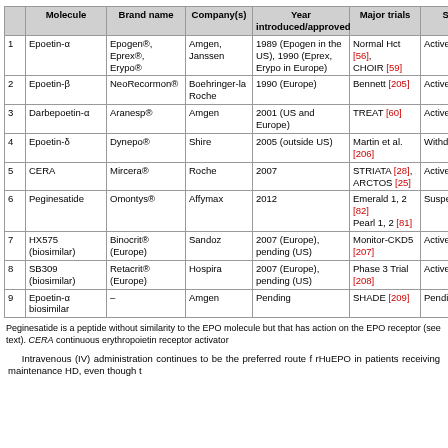|  | Molecule | Brand name | Company(s) | Year introduced/approved | Major trials | Status |
| --- | --- | --- | --- | --- | --- | --- |
| 1 | Epoetin-α | Epogen®, Eprex®, Erypo® | Amgen, Janssen | 1989 (Epogen in the US), 1990 (Eprex, Erypo in Europe) | Normal Hct [56], CHOIR [59] | Active |
| 2 | Epoetin-β | NeoRecormon® | Boehringer-la Roche | 1990 (Europe) | Bennett [205] | Active |
| 3 | Darbepoetin-α | Aranesp® | Amgen | 2001 (US and Europe) | TREAT [60] | Active |
| 4 | Epoetin-δ | Dynepo® | Shire | 2005 (outside US) | Martin et al. [206] | Withdrawn |
| 5 | CERA | Mircera® | Roche | 2007 | STRIATA [28], ARCTOS [25] | Active |
| 6 | Peginesatide | Omontys® | Affymax | 2012 | Emerald 1, 2 [82] Pearl 1, 2 [81] | Suspended/r... [80] |
| 7 | HX575 (biosimilar) | Binocrit® (Europe) | Sandoz | 2007 (Europe), pending (US) | Monitor-CKD5 [207] | Active/pendin... |
| 8 | SB309 (biosimilar) | Retacrit® (Europe) | Hospira | 2007 (Europe), pending (US) | Phase 3 Trial [208] | Active/pendin... |
| 9 | Epoetin-α biosimilar | – | Amgen | Pending | SHADE [209] | Pending |
Peginesatide is a peptide without similarity to the EPO molecule but that has action on the EPO receptor (see text). CERA continuous erythropoietin receptor activator
Intravenous (IV) administration continues to be the preferred route f rHuEPO in patients receiving maintenance HD, even though t